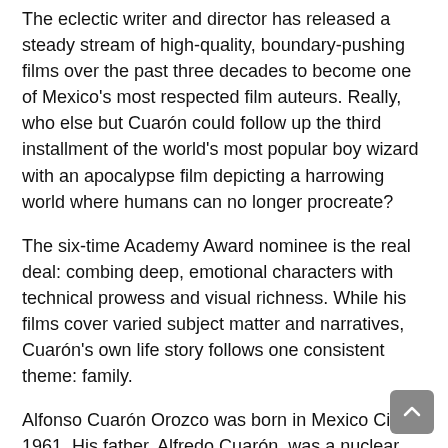The eclectic writer and director has released a steady stream of high-quality, boundary-pushing films over the past three decades to become one of Mexico's most respected film auteurs. Really, who else but Cuarón could follow up the third installment of the world's most popular boy wizard with an apocalypse film depicting a harrowing world where humans can no longer procreate?
The six-time Academy Award nominee is the real deal: combing deep, emotional characters with technical prowess and visual richness. While his films cover varied subject matter and narratives, Cuarón's own life story follows one consistent theme: family.
Alfonso Cuarón Orozco was born in Mexico City in 1961. His father, Alfredo Cuarón, was a nuclear physicist who worked for the United Nations' International Atomic Energy Agency, while the director shares filmmaking blood with his brother Carlos, who is also in the industry. Cuarón studied philosophy before transitioning to filmmaking at the Centro Universitario de Estudios Cinematográficos. It was here where he met director Carlos